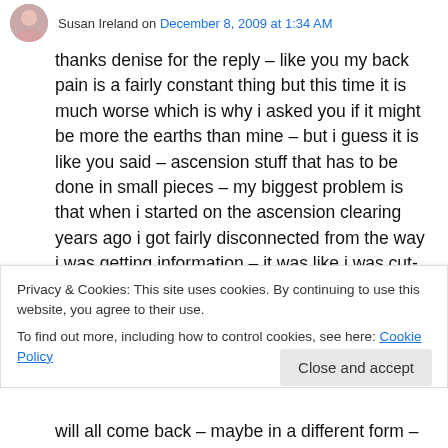Susan Ireland on December 8, 2009 at 1:34 AM
thanks denise for the reply – like you my back pain is a fairly constant thing but this time it is much worse which is why i asked you if it might be more the earths than mine – but i guess it is like you said – ascension stuff that has to be done in small pieces – my biggest problem is that when i started on the ascension clearing years ago i got fairly disconnected from the way i was getting information – it was like i was cut-off – one minute i was channelling constantly and
Privacy & Cookies: This site uses cookies. By continuing to use this website, you agree to their use.
To find out more, including how to control cookies, see here: Cookie Policy
Close and accept
will all come back – maybe in a different form –